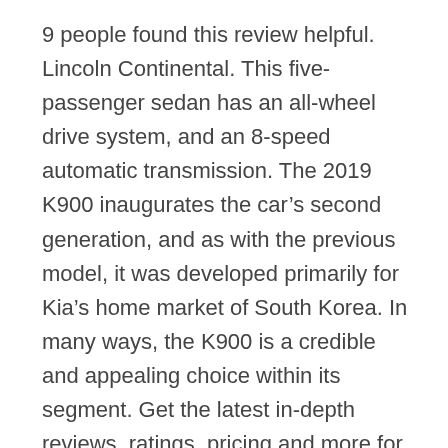9 people found this review helpful. Lincoln Continental. This five-passenger sedan has an all-wheel drive system, and an 8-speed automatic transmission. The 2019 K900 inaugurates the car's second generation, and as with the previous model, it was developed primarily for Kia's home market of South Korea. In many ways, the K900 is a credible and appealing choice within its segment. Get the latest in-depth reviews, ratings, pricing and more for the 2019 Kia K900 from Consumer Reports. It is a luxury sedan with a 3.3-liter, twin turbo V6 engine that produces 365-hp. That means the K900 prioritizes rear-seat luxury (for chauffeuring VIP passengers) and ride comfort